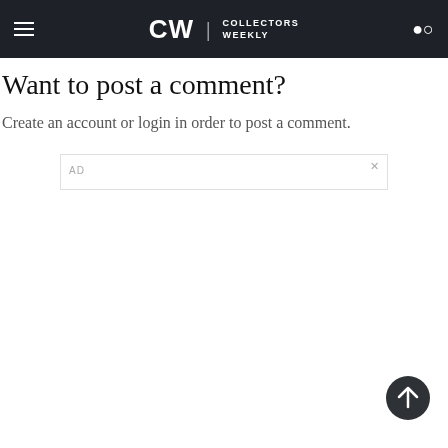CW | COLLECTORS WEEKLY
Want to post a comment?
Create an account or login in order to post a comment.
AD  ×